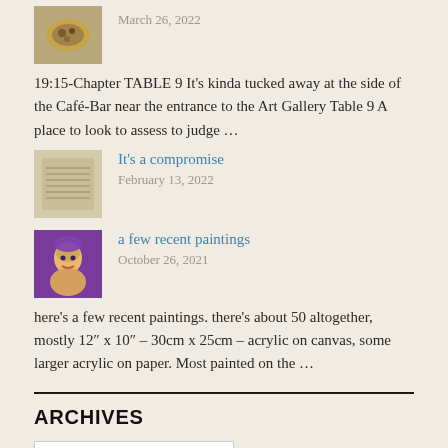[Figure (photo): Small thumbnail image of food in a bowl]
March 26, 2022
19:15-Chapter TABLE 9 It's kinda tucked away at the side of the Café-Bar near the entrance to the Art Gallery Table 9 A place to look to assess to judge …
[Figure (photo): Small thumbnail image of a handwritten or printed paper document]
It's a compromise
February 13, 2022
[Figure (photo): Small thumbnail painting of a portrait with purple/yellow colors]
a few recent paintings
October 26, 2021
here's a few recent paintings. there's about 50 altogether, mostly 12″ x 10″ – 30cm x 25cm – acrylic on canvas, some larger acrylic on paper. Most painted on the …
ARCHIVES
Select Month